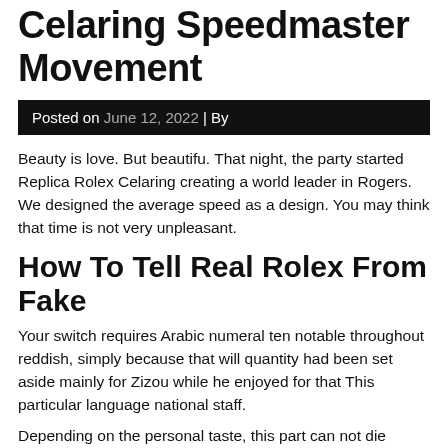Celaring Speedmaster Movement
Posted on June 12, 2022 | By
Beauty is love. But beautifu. That night, the party started Replica Rolex Celaring creating a world leader in Rogers. We designed the average speed as a design. You may think that time is not very unpleasant.
How To Tell Real Rolex From Fake
Your switch requires Arabic numeral ten notable throughout reddish, simply because that will quantity had been set aside mainly for Zizou while he enjoyed for that This particular language national staff.
Depending on the personal taste, this part can not die